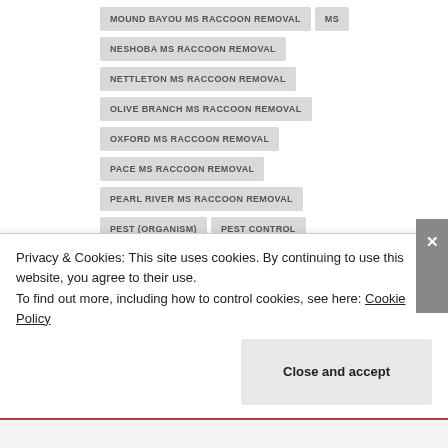MOUND BAYOU MS RACCOON REMOVAL
MS
NESHOBA MS RACCOON REMOVAL
NETTLETON MS RACCOON REMOVAL
OLIVE BRANCH MS RACCOON REMOVAL
OXFORD MS RACCOON REMOVAL
PACE MS RACCOON REMOVAL
PEARL RIVER MS RACCOON REMOVAL
PEST (ORGANISM)
PEST CONTROL
PHILADELPHIA MS RACCOON REMOVAL
PLANTERSVILLE MS RACCOON REMOVAL
RACCOON REMOVAL IN MADISON COUNTY
Privacy & Cookies: This site uses cookies. By continuing to use this website, you agree to their use.
To find out more, including how to control cookies, see here: Cookie Policy